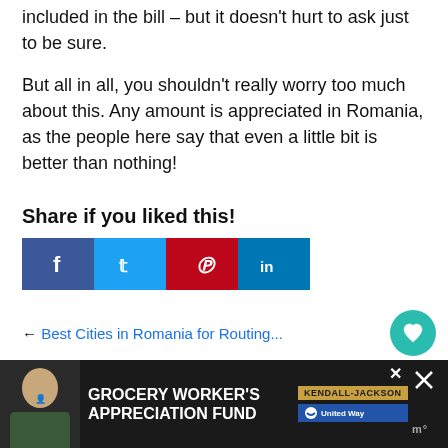included in the bill – but it doesn't hurt to ask just to be sure.
But all in all, you shouldn't really worry too much about this. Any amount is appreciated in Romania, as the people here say that even a little bit is better than nothing!
Share if you liked this!
[Figure (other): Social share buttons: Facebook, Twitter, Pinterest, LinkedIn]
[Figure (other): Floating action buttons: heart/save and share]
Best Cities in Romania for Routing...
[Figure (other): Grocery Worker's Appreciation Fund advertisement banner with Kendall-Jackson and United Way logos]